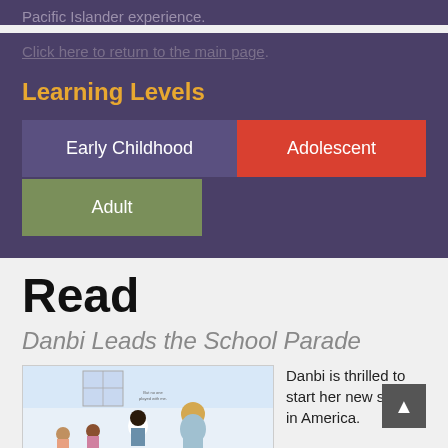Pacific Islander experience.
Click here to return to the main page.
Learning Levels
Early Childhood
Adolescent
Adult
Read
Danbi Leads the School Parade
[Figure (illustration): Book cover illustration of Danbi Leads the School Parade showing children characters]
Danbi is thrilled to start her new school in America.